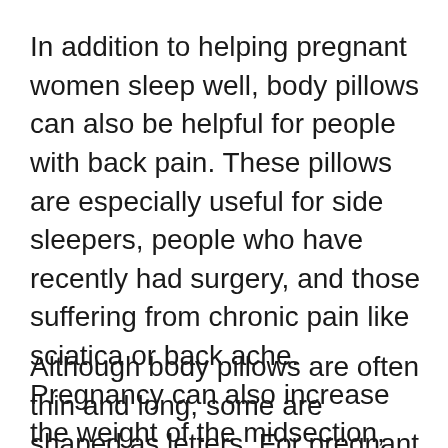In addition to helping pregnant women sleep well, body pillows can also be helpful for people with back pain. These pillows are especially useful for side sleepers, people who have recently had surgery, and those suffering from chronic pain like sciatica or back ache. Pregnancy can also increase the weight of the midsection, which can cause swelling and pain in the lower back. This makes it more difficult for women to find a comfortable position for sleeping. Body pillows can help.
Although body pillows are often thin and long, some are shaped as letters. For pregnant women, a letter-shaped pillow may be especially beneficial. For the needs of a...